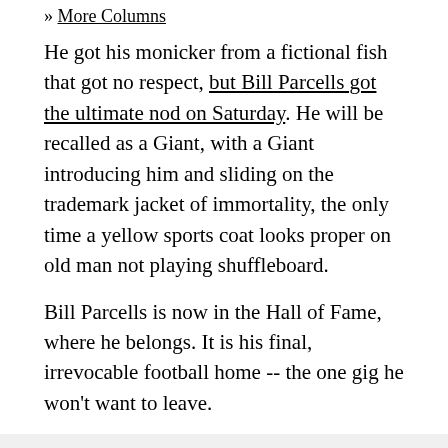» More Columns
He got his monicker from a fictional fish that got no respect, but Bill Parcells got the ultimate nod on Saturday. He will be recalled as a Giant, with a Giant introducing him and sliding on the trademark jacket of immortality, the only time a yellow sports coat looks proper on old man not playing shuffleboard.
Bill Parcells is now in the Hall of Fame, where he belongs. It is his final, irrevocable football home -- the one gig he won't want to leave.
Why did it take so long to be inducted? No doubt the irascible coach was often overly ornery with the very people who voted him in. His deftest moves qualify as...